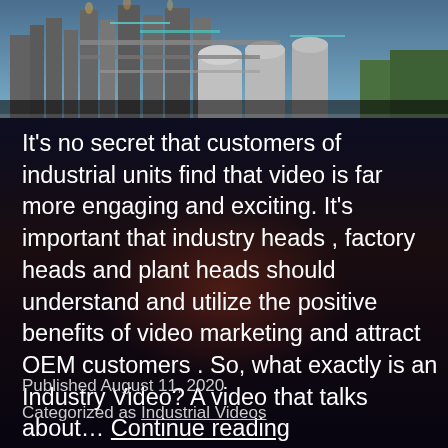[Figure (photo): Aerial view of an industrial facility with large tanks, piping, and structures against a blue sky]
It's no secret that customers of industrial units find that video is far more engaging and exciting. It's important that industry heads , factory heads and plant heads should understand and utilize the positive benefits of video marketing and attract OEM customers . So, what exactly is an Industry Video? A video that talks about… Continue reading
Published August 11, 2020
Categorized as Industrial Videos